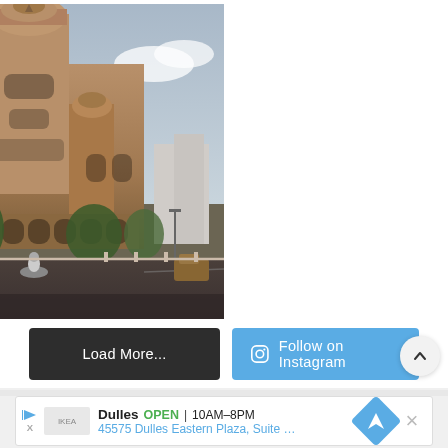[Figure (photo): Photograph of a large Gothic/Victorian style building (Brihanmumbai Municipal Corporation headquarters, Mumbai) with ornate stone facade, central dome, smaller domes on towers, with a road in the foreground showing a motorcyclist, palm trees and other buildings visible on sides, partly cloudy sky.]
Load More...
Follow on Instagram
Dulles  OPEN | 10AM–8PM  45575 Dulles Eastern Plaza, Suite 171...